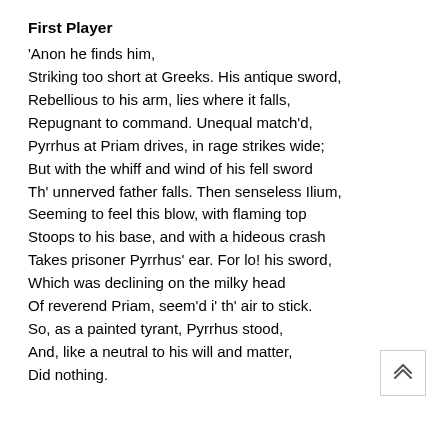First Player
'Anon he finds him,
Striking too short at Greeks. His antique sword,
Rebellious to his arm, lies where it falls,
Repugnant to command. Unequal match'd,
Pyrrhus at Priam drives, in rage strikes wide;
But with the whiff and wind of his fell sword
Th' unnerved father falls. Then senseless Ilium,
Seeming to feel this blow, with flaming top
Stoops to his base, and with a hideous crash
Takes prisoner Pyrrhus' ear. For lo! his sword,
Which was declining on the milky head
Of reverend Priam, seem'd i' th' air to stick.
So, as a painted tyrant, Pyrrhus stood,
And, like a neutral to his will and matter,
Did nothing.